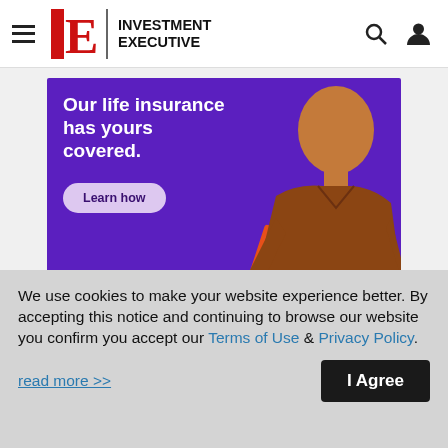IE INVESTMENT EXECUTIVE
[Figure (illustration): Beneva life insurance advertisement on purple background with smiling man in brown shirt. Text reads: 'Our life insurance has yours covered. Learn how. beneva People protecting people.']
We use cookies to make your website experience better. By accepting this notice and continuing to browse our website you confirm you accept our Terms of Use & Privacy Policy.
read more >>
I Agree